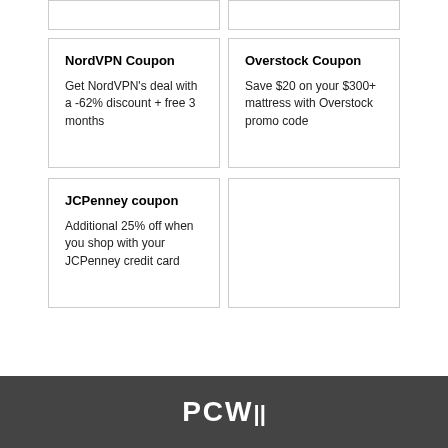NordVPN Coupon
Get NordVPN’s deal with a -62% discount + free 3 months
Overstock Coupon
Save $20 on your $300+ mattress with Overstock promo code
JCPenney coupon
Additional 25% off when you shop with your JCPenney credit card
PCW...